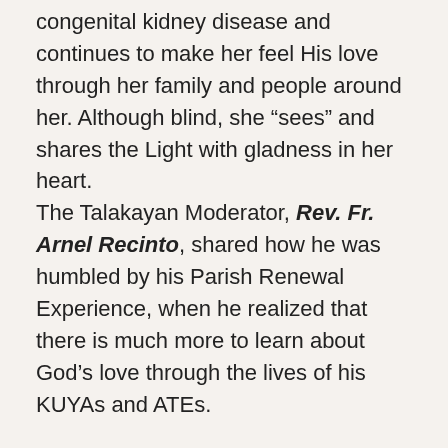congenital kidney disease and continues to make her feel His love through her family and people around her. Although blind, she “sees” and shares the Light with gladness in her heart.
The Talakayan Moderator, Rev. Fr. Arnel Recinto, shared how he was humbled by his Parish Renewal Experience, when he realized that there is much more to learn about God’s love through the lives of his KUYAs and ATEs.
Refreshed and recharged by the insightful Talks and inspiring sharings that they heard, our KUYAs and ATEs resolved to reflect, internalize, practice and live what were learned in the 13th National PREX Convention. They thanked the Archdiocese of Davao & Diocese of Digos for hosting the successful convention and look forward to the next (14th) National PREX